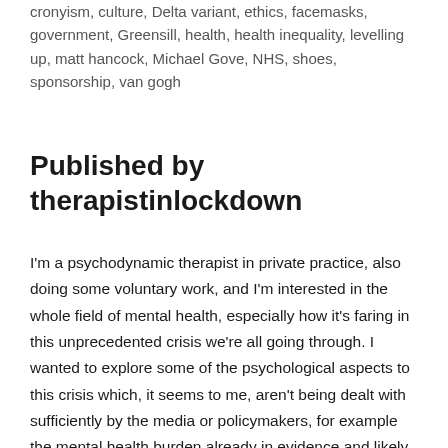cronyism, culture, Delta variant, ethics, facemasks, government, Greensill, health, health inequality, levelling up, matt hancock, Michael Gove, NHS, shoes, sponsorship, van gogh
Published by therapistinlockdown
I'm a psychodynamic therapist in private practice, also doing some voluntary work, and I'm interested in the whole field of mental health, especially how it's faring in this unprecedented crisis we're all going through. I wanted to explore some of the psychological aspects to this crisis which, it seems to me, aren't being dealt with sufficiently by the media or policymakers, for example the mental health burden already in evidence and likely to become more severe as time goes on. View more